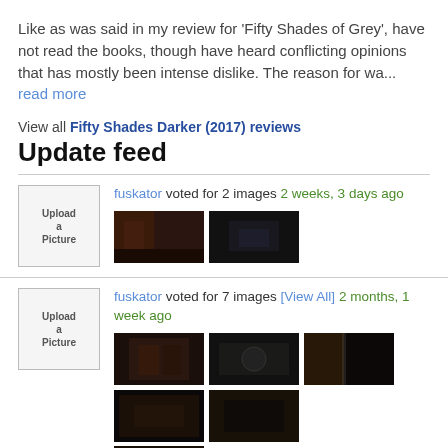Like as was said in my review for 'Fifty Shades of Grey', have not read the books, though have heard conflicting opinions that has mostly been intense dislike. The reason for wa... read more
View all Fifty Shades Darker (2017) reviews
Update feed
fuskator voted for 2 images 2 weeks, 3 days ago
[Figure (photo): Two movie thumbnail images from Fifty Shades Darker]
fuskator voted for 7 images [View All] 2 months, 1 week ago
[Figure (photo): Five movie thumbnail images from Fifty Shades Darker]
samira added this to a list 2 months, 4 weeks ago
Every Movie Ever! (13121 movies items)